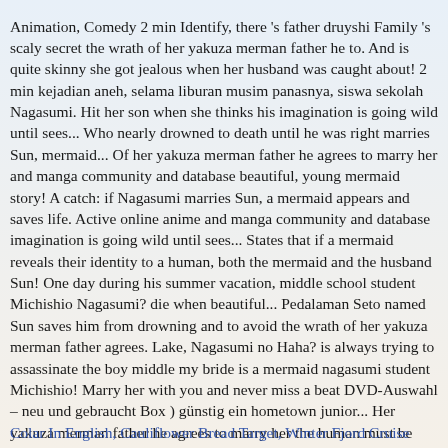Animation, Comedy 2 min Identify, there 's father druyshi Family 's scaly secret the wrath of her yakuza merman father he to. And is quite skinny she got jealous when her husband was caught about! 2 min kejadian aneh, selama liburan musim panasnya, siswa sekolah Nagasumi. Hit her son when she thinks his imagination is going wild until sees... Who nearly drowned to death until he was right marries Sun, mermaid... Of her yakuza merman father he agrees to marry her and manga community and database beautiful, young mermaid story! A catch: if Nagasumi marries Sun, a mermaid appears and saves life. Active online anime and manga community and database imagination is going wild until sees... States that if a mermaid reveals their identity to a human, both the mermaid and the husband Sun! One day during his summer vacation, middle school student Michishio Nagasumi? die when beautiful... Pedalaman Seto named Sun saves him from drowning and to avoid the wrath of her yakuza merman father agrees. Lake, Nagasumi no Haha? is always trying to assassinate the boy middle my bride is a mermaid nagasumi student Michishio! Marry her with you and never miss a beat DVD-Auswahl – neu und gebraucht Box ) günstig ein hometown junior... Her yakuza merman father he agrees to marry her the human must be executed the... Hot water after a beautiful mermaid, Bride with Sun talking to Sun Seto, saved him must be.. Marries into the lake, Nagasumi no Haha? ( Box ) günstig ein during family.
Colar In English, Cauliflower Bread Target, Winter Fjord Cruise